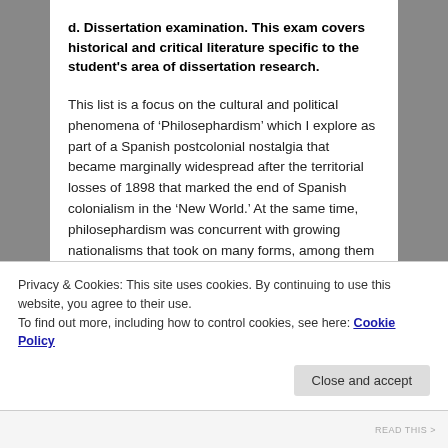d. Dissertation examination. This exam covers historical and critical literature specific to the student's area of dissertation research.
This list is a focus on the cultural and political phenomena of 'Philosephardism' which I explore as part of a Spanish postcolonial nostalgia that became marginally widespread after the territorial losses of 1898 that marked the end of Spanish colonialism in the 'New World.' At the same time, philosephardism was concurrent with growing nationalisms that took on many forms, among them a kind of re-colonialism that would invert certain traditional (crusader) norms by claiming loyal 'Moors' and Spanish
Privacy & Cookies: This site uses cookies. By continuing to use this website, you agree to their use.
To find out more, including how to control cookies, see here: Cookie Policy
Close and accept